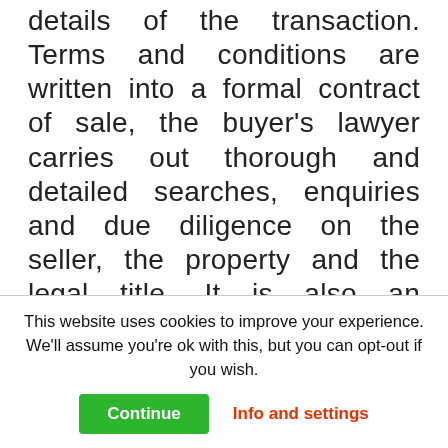details of the transaction. Terms and conditions are written into a formal contract of sale, the buyer's lawyer carries out thorough and detailed searches, enquiries and due diligence on the seller, the property and the legal title. It is also an opportunity for the buyer to make financial and other arrangements, for example, to secure a mortgage offer and, given that English law applies the doctrine of caveat emptor (meaning that the buyer acquires...
This website uses cookies to improve your experience. We'll assume you're ok with this, but you can opt-out if you wish.